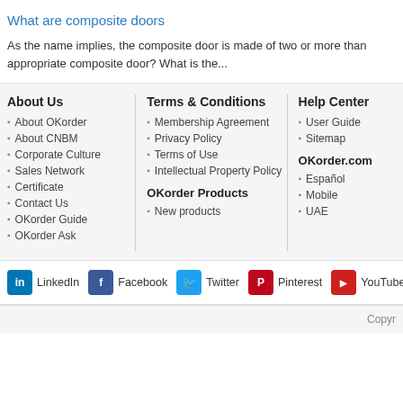What are composite doors
As the name implies, the composite door is made of two or more than appropriate composite door? What is the...
About Us
About OKorder
About CNBM
Corporate Culture
Sales Network
Certificate
Contact Us
OKorder Guide
OKorder Ask
Terms & Conditions
Membership Agreement
Privacy Policy
Terms of Use
Intellectual Property Policy
OKorder Products
New products
Help Center
User Guide
Sitemap
OKorder.com
Español
Mobile
UAE
LinkedIn  Facebook  Twitter  Pinterest  YouTube
Copyr